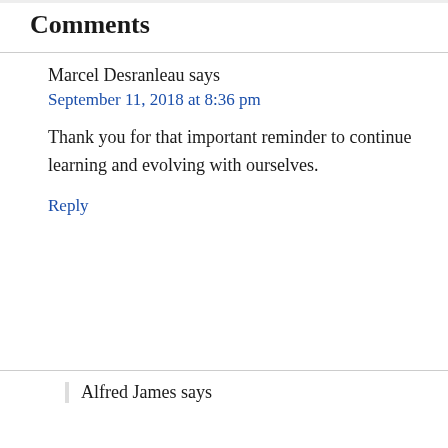Comments
Marcel Desranleau says
September 11, 2018 at 8:36 pm
Thank you for that important reminder to continue learning and evolving with ourselves.
Reply
Alfred James says